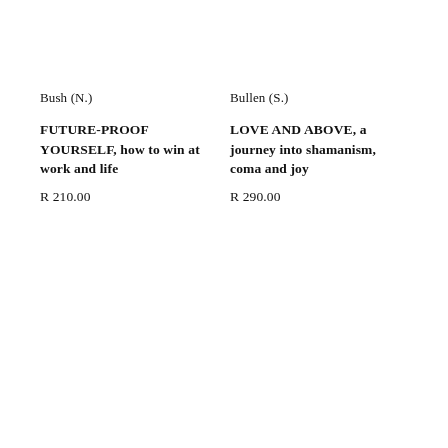Bush (N.)
Bullen (S.)
FUTURE-PROOF YOURSELF, how to win at work and life
LOVE AND ABOVE, a journey into shamanism, coma and joy
R 210.00
R 290.00